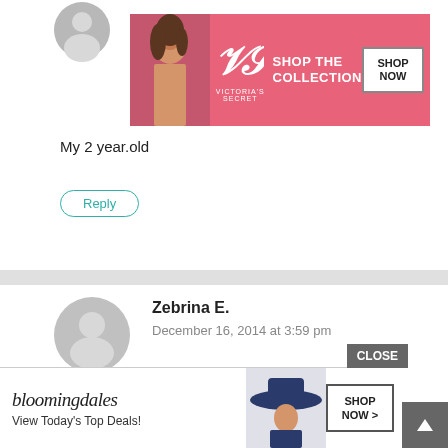[Figure (screenshot): Screenshot of a website comment section with user comments, reply buttons, and overlaid advertisements (Victoria's Secret and Bloomingdale's ads). Three comment blocks visible, partially overlaid by ads.]
My 2 year old
Reply
Zebrina E.
December 16, 2014 at 3:59 pm
Either or both of my daughters! 5&7
Reply
allison
December 16, 2014 at 4:01 pm
My g
CLOSE
[Figure (screenshot): Victoria's Secret advertisement banner: pink background with VS logo, 'SHOP THE COLLECTION' text, and 'SHOP NOW' button]
[Figure (screenshot): Bloomingdale's advertisement banner: white background with Bloomingdale's logo, 'View Today's Top Deals!' text, woman with hat image, and 'SHOP NOW >' button]